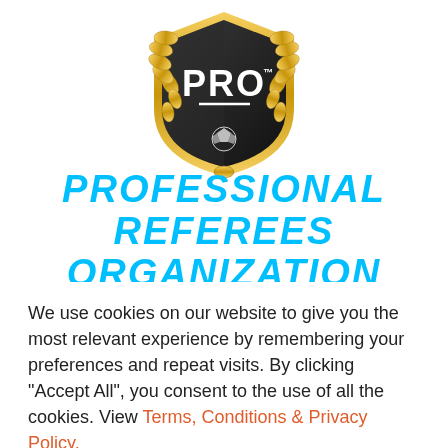[Figure (logo): PRO (Professional Referees Organization) shield logo with gold laurel wreath and soccer ball at bottom, PRO text in white on dark shield background]
PROFESSIONAL REFEREES ORGANIZATION
We use cookies on our website to give you the most relevant experience by remembering your preferences and repeat visits. By clicking "Accept All", you consent to the use of all the cookies. View Terms, Conditions & Privacy Policy.
Cookie Settings | Accept All